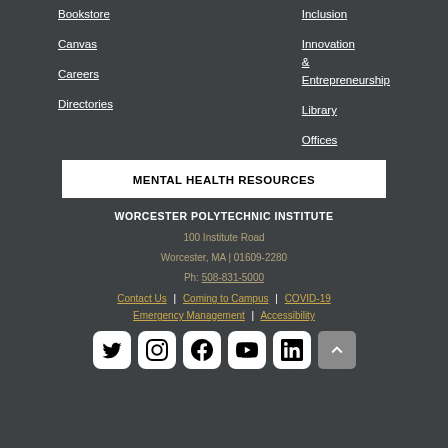Bookstore
Inclusion
Canvas
Innovation & Entrepreneurship
Careers
Library
Directories
Offices
MENTAL HEALTH RESOURCES
WORCESTER POLYTECHNIC INSTITUTE
100 Institute Road
Worcester, MA | 01609-2280
Ph: 508-831-5000
Contact Us | Coming to Campus | COVID-19
Emergency Management | Accessibility
[Figure (other): Social media icons: Twitter, Instagram, Facebook, YouTube, LinkedIn, and a back-to-top button]